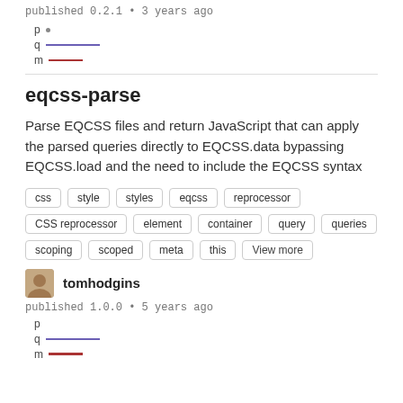published 0.2.1 • 3 years ago
[Figure (infographic): Legend with p (dot), q (purple line), m (red line)]
eqcss-parse
Parse EQCSS files and return JavaScript that can apply the parsed queries directly to EQCSS.data bypassing EQCSS.load and the need to include the EQCSS syntax
css
style
styles
eqcss
reprocessor
CSS reprocessor
element
container
query
queries
scoping
scoped
meta
this
View more
tomhodgins
published 1.0.0 • 5 years ago
[Figure (infographic): Legend with p, q (purple line), m (red line)]